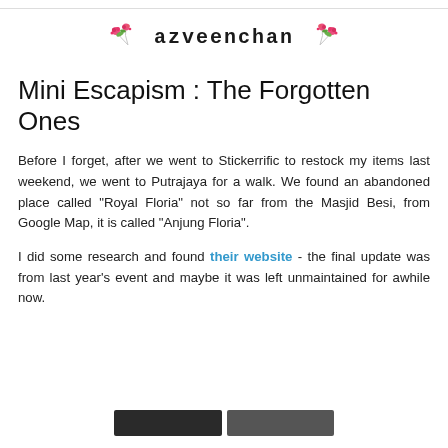azveenchan
Mini Escapism : The Forgotten Ones
Before I forget, after we went to Stickerrific to restock my items last weekend, we went to Putrajaya for a walk. We found an abandoned place called "Royal Floria" not so far from the Masjid Besi, from Google Map, it is called "Anjung Floria".
I did some research and found their website - the final update was from last year's event and maybe it was left unmaintained for awhile now.